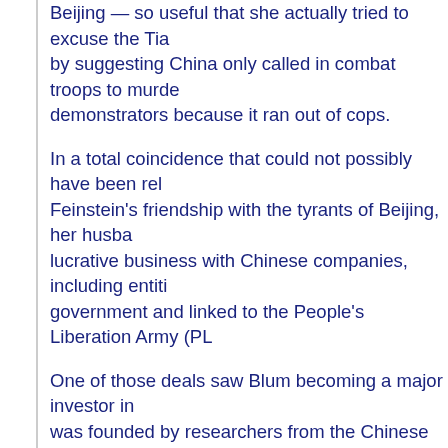Beijing — so useful that she actually tried to excuse the Tia by suggesting China only called in combat troops to murde demonstrators because it ran out of cops.
In a total coincidence that could not possibly have been rel Feinstein's friendship with the tyrants of Beijing, her husba lucrative business with Chinese companies, including entiti government and linked to the People's Liberation Army (PL
One of those deals saw Blum becoming a major investor in was founded by researchers from the Chinese Academy of institution tied to both the Chinese government and the PLA originally called Legend, but is better known by its second n
Lenovo grew into a major player in the worldwide computer acquired IBM's line of personal computer products in 2005. business included $350 million in investments from three A One of them was Richard Blum's Newbridge Capital.
Some lawmakers worried Lenovo's purchase of IBM's pers jeopardize U.S. national security and transfer advanced Am to China. Sen. Dianne Feinstein, who sat on the Senate Int time, was not one of them.
It did not take long for security agencies across the Wester